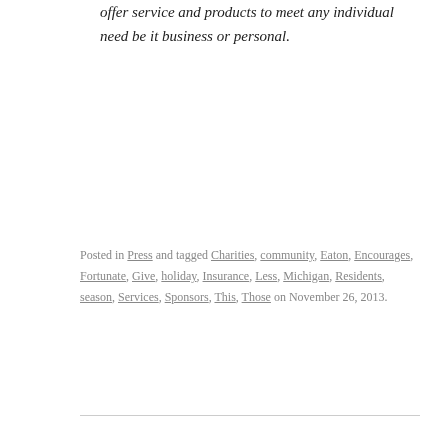offer service and products to meet any individual need be it business or personal.
Posted in Press and tagged Charities, community, Eaton, Encourages, Fortunate, Give, holiday, Insurance, Less, Michigan, Residents, season, Services, Sponsors, This, Those on November 26, 2013.